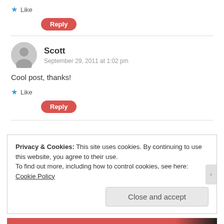★ Like
Reply
Scott
September 29, 2011 at 1:02 pm
Cool post, thanks!
★ Like
Reply
Privacy & Cookies: This site uses cookies. By continuing to use this website, you agree to their use.
To find out more, including how to control cookies, see here:
Cookie Policy
Close and accept